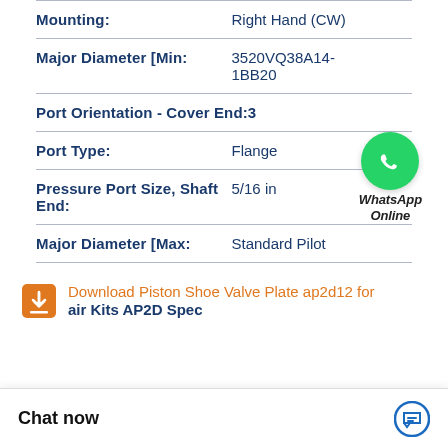| Property | Value |
| --- | --- |
| Mounting: | Right Hand (CW) |
| Major Diameter [Min: | 3520VQ38A14-1BB20 |
| Port Orientation - Cover End:3 |  |
| Port Type: | Flange |
| Pressure Port Size, Shaft End: | 5/16 in |
| Major Diameter [Max: | Standard Pilot |
[Figure (logo): WhatsApp green circle icon with phone handset, labeled 'WhatsApp Online']
Download Piston Shoe Valve Plate ap2d12 for
air Kits AP2D Spec
Chat now